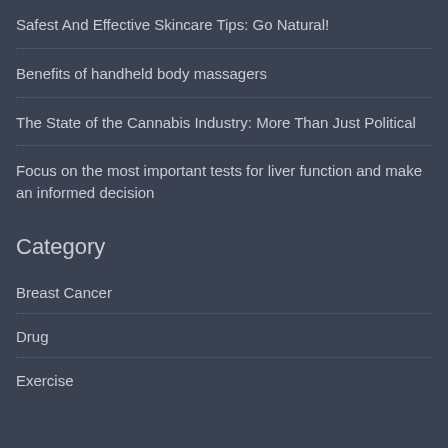Safest And Effective Skincare Tips: Go Natural!
Benefits of handheld body massagers
The State of the Cannabis Industry: More Than Just Political
Focus on the most important tests for liver function and make an informed decision
Category
Breast Cancer
Drug
Exercise